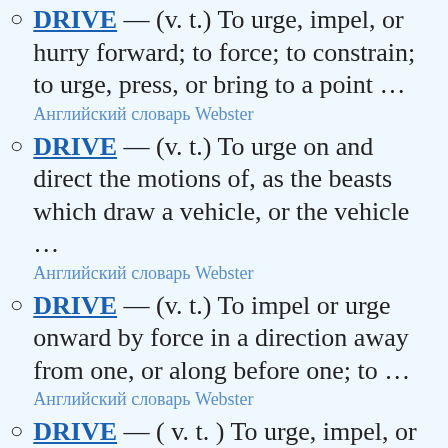DRIVE — (v. t.) To urge, impel, or hurry forward; to force; to constrain; to urge, press, or bring to a point … Английский словарь Webster
DRIVE — (v. t.) To urge on and direct the motions of, as the beasts which draw a vehicle, or the vehicle … Английский словарь Webster
DRIVE — (v. t.) To impel or urge onward by force in a direction away from one, or along before one; to … Английский словарь Webster
DRIVE — ( v. t. ) To urge, impel, or hurry forward; to force; to constrain; to urge, press, or bring to …